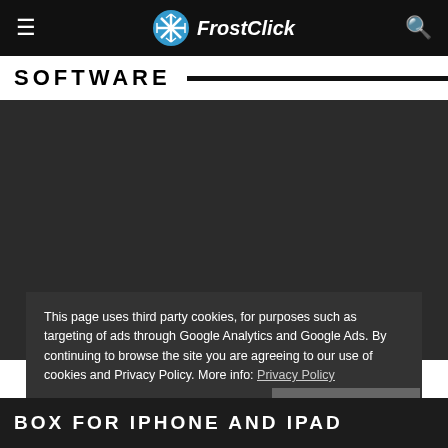FrostClick
SOFTWARE
[Figure (other): Dark gray advertisement or content area]
This page uses third party cookies, for purposes such as targeting of ads through Google Analytics and Google Ads. By continuing to browse the site you are agreeing to our use of cookies and Privacy Policy. More info: Privacy Policy
Close and accept
BOX FOR IPHONE AND IPAD